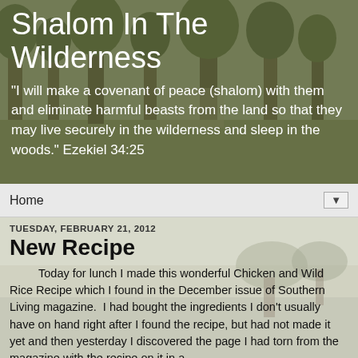[Figure (photo): Forest/wilderness nature background photo with trees, used as banner header image for blog]
Shalom In The Wilderness
"I will make a covenant of peace (shalom) with them and eliminate harmful beasts from the land so that they may live securely in the wilderness and sleep in the woods." Ezekiel 34:25
Home
[Figure (photo): Outdoor field/yard background photo, light grey-green tones, trees in background]
TUESDAY, FEBRUARY 21, 2012
New Recipe
Today for lunch I made this wonderful Chicken and Wild Rice Recipe which I found in the December issue of Southern Living magazine.  I had bought the ingredients I don't usually have on hand right after I found the recipe, but had not made it yet and then yesterday I discovered the page I had torn from the magazine with the recipe on it in a